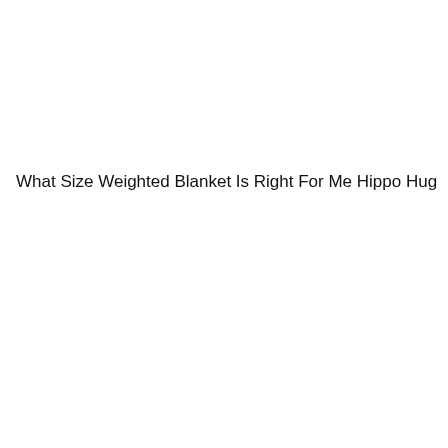What Size Weighted Blanket Is Right For Me Hippo Hug